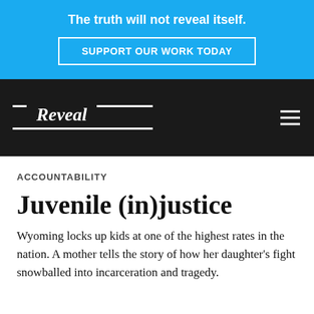The truth will not reveal itself.
SUPPORT OUR WORK TODAY
[Figure (logo): Reveal news organization logo in white text on dark background with horizontal white stripes]
ACCOUNTABILITY
Juvenile (in)justice
Wyoming locks up kids at one of the highest rates in the nation. A mother tells the story of how her daughter’s fight snowballed into incarceration and tragedy.